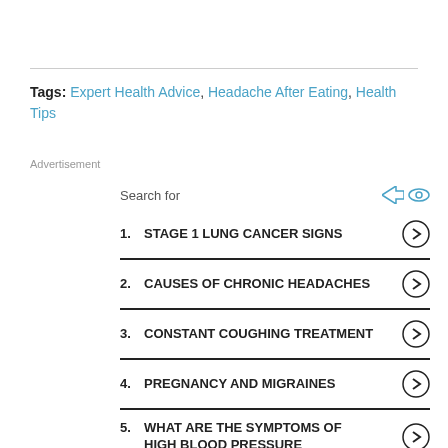Tags: Expert Health Advice, Headache After Eating, Health Tips
Advertisement
[Figure (other): Search ad widget with 5 health-related search result items: 1. STAGE 1 LUNG CANCER SIGNS, 2. CAUSES OF CHRONIC HEADACHES, 3. CONSTANT COUGHING TREATMENT, 4. PREGNANCY AND MIGRAINES, 5. WHAT ARE THE SYMPTOMS OF HIGH BLOOD PRESSURE]
1. STAGE 1 LUNG CANCER SIGNS
2. CAUSES OF CHRONIC HEADACHES
3. CONSTANT COUGHING TREATMENT
4. PREGNANCY AND MIGRAINES
5. WHAT ARE THE SYMPTOMS OF HIGH BLOOD PRESSURE